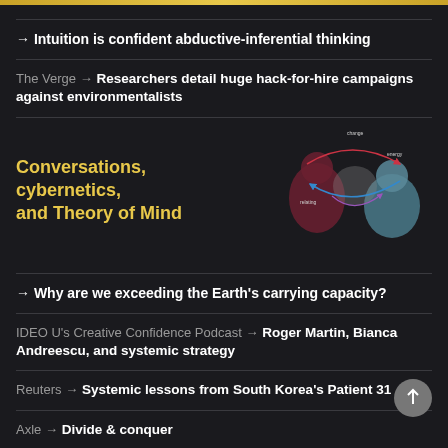→ Intuition is confident abductive-inferential thinking
The Verge → Researchers detail huge hack-for-hire campaigns against environmentalists
[Figure (illustration): Abstract cybernetics diagram showing overlapping circles with arrows between figures representing theory of mind and communication]
Conversations, cybernetics, and Theory of Mind
→ Why are we exceeding the Earth's carrying capacity?
IDEO U's Creative Confidence Podcast → Roger Martin, Bianca Andreescu, and systemic strategy
Reuters → Systemic lessons from South Korea's Patient 31
Axle → Divide & conquer